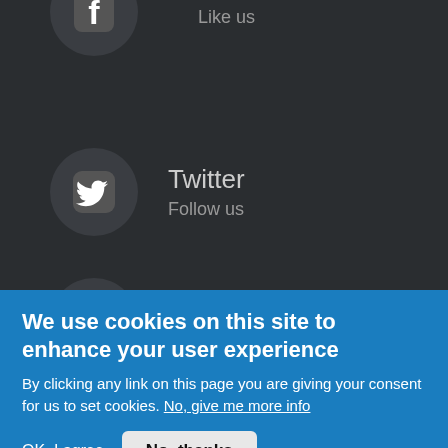[Figure (illustration): Facebook icon - white F on dark rounded square inside dark circle]
Like us
[Figure (illustration): Twitter icon - white bird on dark rounded square inside dark circle]
Twitter
Follow us
[Figure (illustration): Instagram icon - white camera on dark rounded square inside dark circle]
Instagram
Follow us
We use cookies on this site to enhance your user experience
By clicking any link on this page you are giving your consent for us to set cookies. No, give me more info
OK, I agree
No, thanks